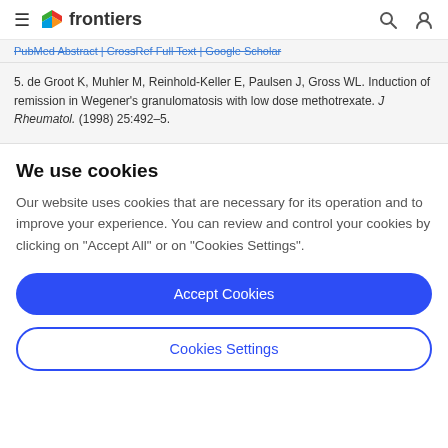frontiers
PubMed Abstract | CrossRef Full Text | Google Scholar
5. de Groot K, Muhler M, Reinhold-Keller E, Paulsen J, Gross WL. Induction of remission in Wegener's granulomatosis with low dose methotrexate. J Rheumatol. (1998) 25:492–5.
We use cookies
Our website uses cookies that are necessary for its operation and to improve your experience. You can review and control your cookies by clicking on "Accept All" or on "Cookies Settings".
Accept Cookies
Cookies Settings